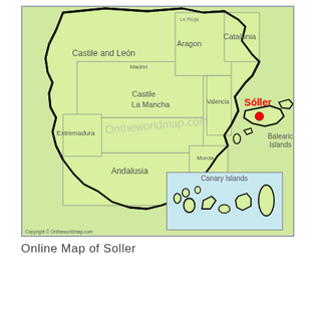[Figure (map): Map of Spain showing regions including Castile and León, Castile-La Mancha, Aragon, Catalonia, Andalusia, Extremadura, Balearic Islands, and Canary Islands inset. A red dot marks the location of Sóller in Mallorca (Balearic Islands). Watermark reads Ontheworldmap.com. Copyright © Ontheworldmap.com shown at bottom left.]
Online Map of Soller